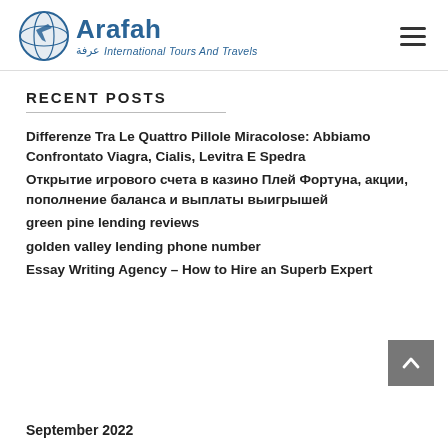[Figure (logo): Arafah International Tours And Travels logo with globe/plane icon, Arabic text عرفة]
RECENT POSTS
Differenze Tra Le Quattro Pillole Miracolose: Abbiamo Confrontato Viagra, Cialis, Levitra E Spedra
Открытие игрового счета в казино Плей Фортуна, акции, пополнение баланса и выплаты выигрышей
green pine lending reviews
golden valley lending phone number
Essay Writing Agency – How to Hire an Superb Expert
September 2022